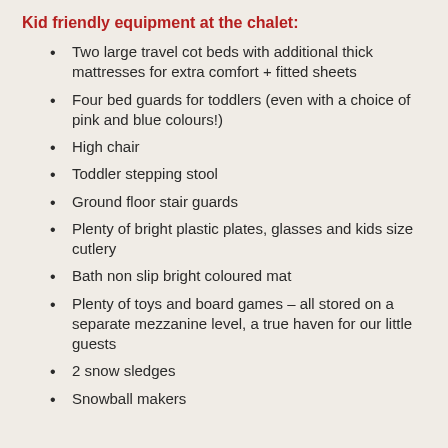Kid friendly equipment at the chalet:
Two large travel cot beds with additional thick mattresses for extra comfort + fitted sheets
Four bed guards for toddlers (even with a choice of pink and blue colours!)
High chair
Toddler stepping stool
Ground floor stair guards
Plenty of bright plastic plates, glasses and kids size cutlery
Bath non slip bright coloured mat
Plenty of toys and board games – all stored on a separate mezzanine level, a true haven for our little guests
2 snow sledges
Snowball makers